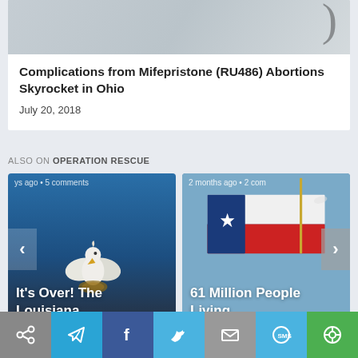[Figure (photo): Partial view of a person, visible at the top of the page, cropped]
Complications from Mifepristone (RU486) Abortions Skyrocket in Ohio
July 20, 2018
ALSO ON OPERATION RESCUE
[Figure (photo): Card showing Louisiana state symbol (pelican) on blue background with text 'It's Over! The Louisiana' and metadata 'ys ago • 5 comments']
[Figure (photo): Card showing Texas flag on blue sky background with text '61 Million People Living' and metadata '2 months ago • 2 com']
[Figure (other): Share bar at the bottom with share, telegram, facebook, twitter, email, sms, and other buttons]